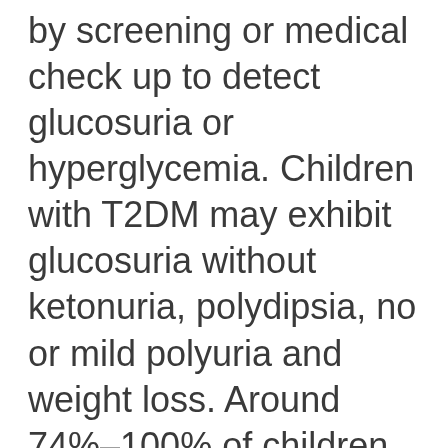by screening or medical check up to detect glucosuria or hyperglycemia. Children with T2DM may exhibit glucosuria without ketonuria, polydipsia, no or mild polyuria and weight loss. Around 74%–100% of children with T2DM also have a family history of